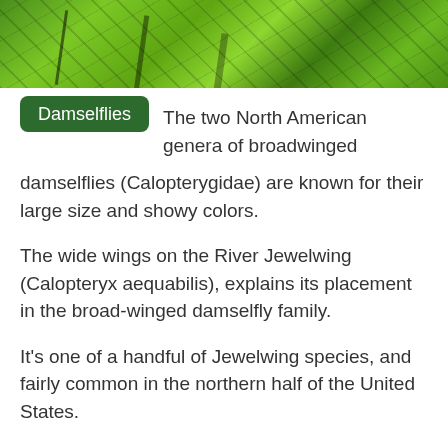[Figure (photo): Close-up photo of large green leaves with dark stems/vines, showing bright green foliage with veins visible.]
Damselflies
The two North American genera of broadwinged damselflies (Calopterygidae) are known for their large size and showy colors.
The wide wings on the River Jewelwing (Calopteryx aequabilis), explains its placement in the broad-winged damselfly family.
It's one of a handful of Jewelwing species, and fairly common in the northern half of the United States.
River Jewelwings are typically the largest